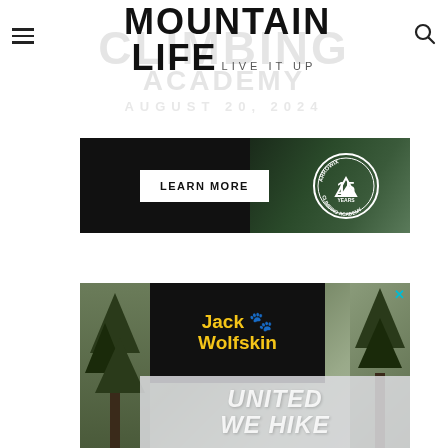MOUNTAIN LIFE · LIVE IT UP
[Figure (screenshot): Mountain Life magazine logo with 'MOUNTAIN' and 'LIFE LIVE IT UP' text, with faded background text showing 'CLIMBING' and 'AUGUST 20__']
[Figure (screenshot): Advertisement banner with dark background showing 'LEARN MORE' button and a circular badge for '15 YEARS CLIMBING ACADEMY']
[Figure (screenshot): Jack Wolfskin advertisement with mountain landscape background, black panel with 'Jack Wolfskin' logo in yellow, and 'UNITED WE HIKE' text overlay]